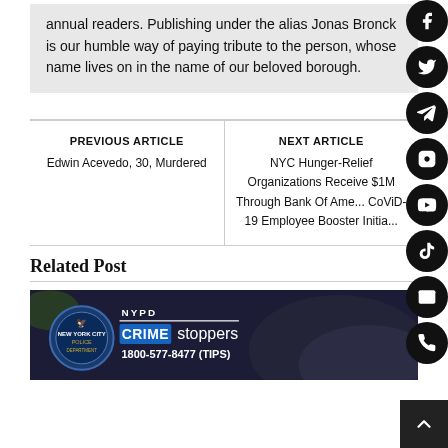annual readers. Publishing under the alias Jonas Bronck is our humble way of paying tribute to the person, whose name lives on in the name of our beloved borough.
PREVIOUS ARTICLE
Edwin Acevedo, 30, Murdered
NEXT ARTICLE
NYC Hunger-Relief Organizations Receive $1M Through Bank Of Ame... CoViD-19 Employee Booster Initia...
Related Post
[Figure (photo): NYPD Crime Stoppers banner with shield logo, blue background, text: NYPD CRIME stoppers 1800-577-8477 (TIPS), overlaid on dark textured background]